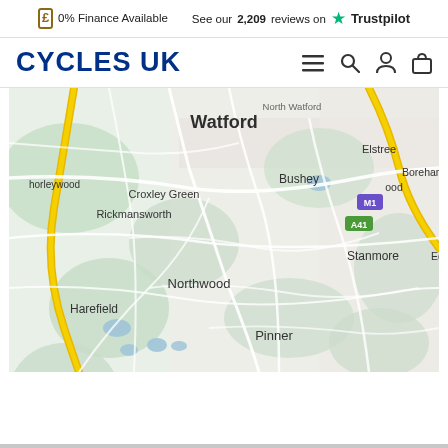£ 0% Finance Available   See our 2,209 reviews on ★ Trustpilot
[Figure (logo): Cycles UK logo with navigation icons (hamburger menu, search, account, bag)]
[Figure (map): Google Maps view showing Watford area in UK, including Croxley Green, Rickmansworth, Chorleywood, Bushey, Elstree, Borehamwood, Stanmore, Edgware, Northwood, Harefield, Pinner with roads including M1, A41 marked]